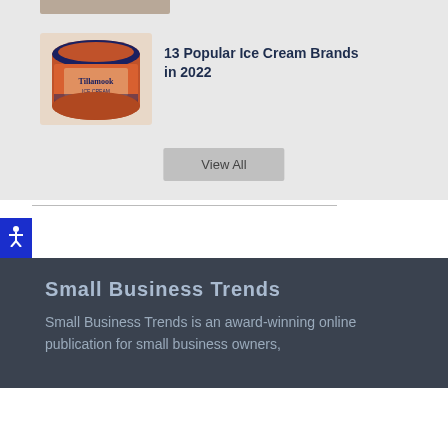[Figure (photo): Cropped top portion of a photo showing people, partially visible at top of page]
[Figure (photo): Tillamook orange ice cream container/tub product photo]
13 Popular Ice Cream Brands in 2022
View All
[Figure (other): Accessibility icon button (person with raised arms) on blue background]
Small Business Trends
Small Business Trends is an award-winning online publication for small business owners,